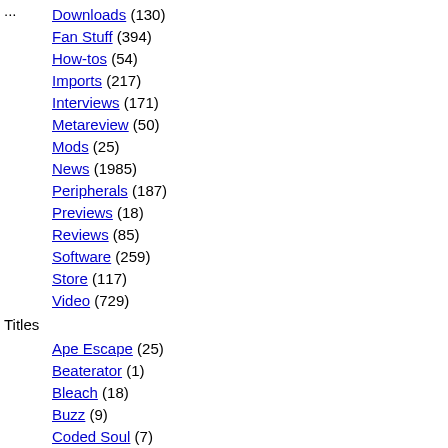Downloads (130)
Fan Stuff (394)
How-tos (54)
Imports (217)
Interviews (171)
Metareview (50)
Mods (25)
News (1985)
Peripherals (187)
Previews (18)
Reviews (85)
Software (259)
Store (117)
Video (729)
Titles
Ape Escape (25)
Beaterator (1)
Bleach (18)
Buzz (9)
Coded Soul (7)
Devil May Cry (1)
Disgaea (32)
DJ Max (23)
echochrome (24)
EyeToy (1)